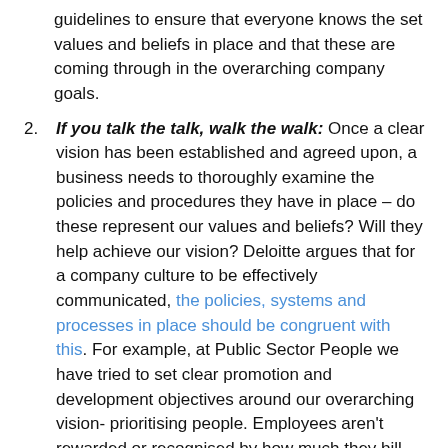guidelines to ensure that everyone knows the set values and beliefs in place and that these are coming through in the overarching company goals.
If you talk the talk, walk the walk: Once a clear vision has been established and agreed upon, a business needs to thoroughly examine the policies and procedures they have in place – do these represent our values and beliefs? Will they help achieve our vision? Deloitte argues that for a company culture to be effectively communicated, the policies, systems and processes in place should be congruent with this. For example, at Public Sector People we have tried to set clear promotion and development objectives around our overarching vision- prioritising people. Employees aren't rewarded or recognised by how much they bill, but the relationships they're able to create and maintain. Similarly, we focus on